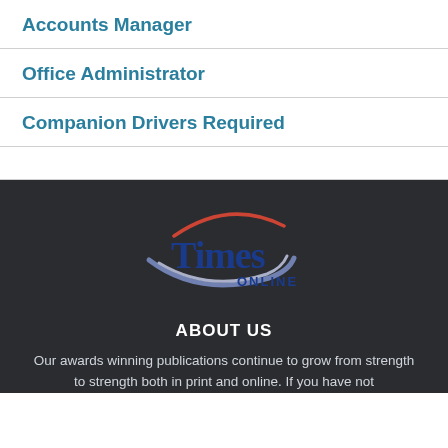Accounts Manager
Office Administrator
Companion Drivers Required
[Figure (logo): Times Online logo with swoosh arcs in red, blue and grey around bold blue serif 'Times' text and 'ONLINE' below]
ABOUT US
Our awards winning publications continue to grow from strength to strength both in print and online. If you have not